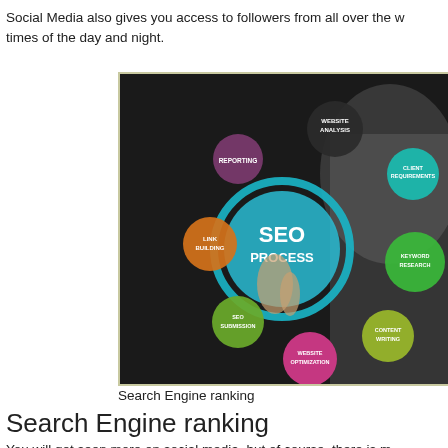Social Media also gives you access to followers from all over the w... times of the day and night.
[Figure (infographic): SEO Process diagram showing a hand pointing at a circular hub labeled 'SEO PROCESS' surrounded by colored circles: Website Analysis (dark), Reporting (purple), Link Building (orange), SEO Submission (green), Website Optimization (pink), Content Writing (yellow-green), Keyword Research (green), Client Requirements (teal)]
Search Engine ranking
Search Engine ranking
You will get seen more on social media, but of course, there is m...